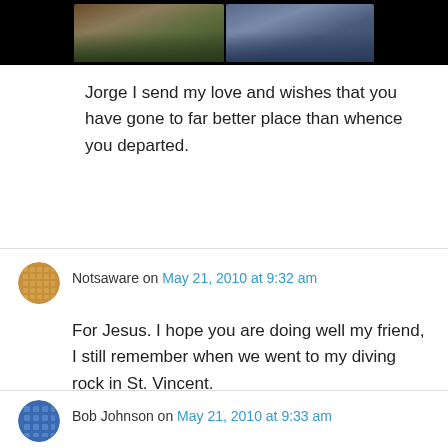[Figure (photo): Video thumbnail showing two scenes: left panel shows a person walking outdoors in warm tones, right panel shows people in blue-toned lighting, against a black background.]
Jorge I send my love and wishes that you have gone to far better place than whence you departed.
Notsaware on May 21, 2010 at 9:32 am
For Jesus. I hope you are doing well my friend, I still remember when we went to my diving rock in St. Vincent.
Bob Johnson on May 21, 2010 at 9:33 am